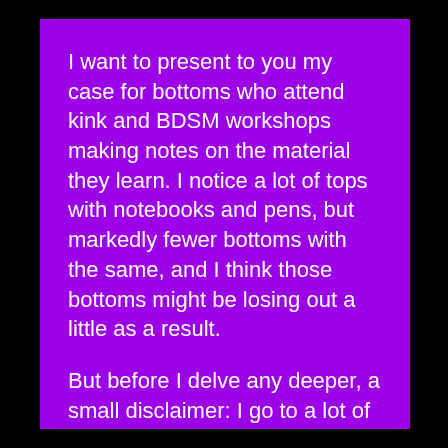I want to present to you my case for bottoms who attend kink and BDSM workshops making notes on the material they learn. I notice a lot of tops with notebooks and pens, but markedly fewer bottoms with the same, and I think those bottoms might be losing out a little as a result.
But before I delve any deeper, a small disclaimer: I go to a lot of rope workshops. And very little else. So this piece will be from a rope bottoming perspective, using rope bottoming